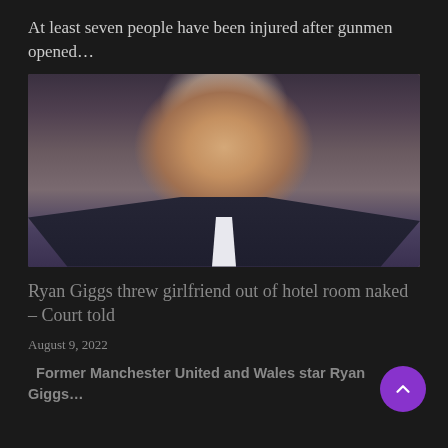At least seven people have been injured after gunmen opened…
[Figure (photo): Man in dark suit with grey hair looking downward, photographed outdoors]
Ryan Giggs threw girlfriend out of hotel room naked – Court told
August 9, 2022
Former Manchester United and Wales star Ryan Giggs…